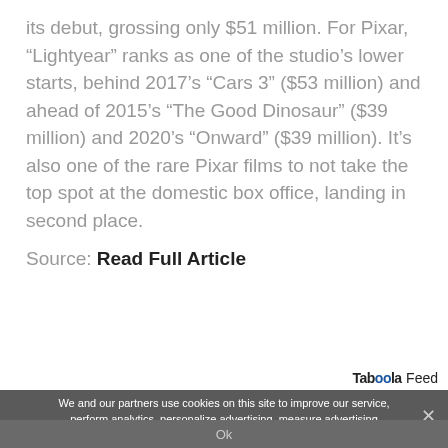its debut, grossing only $51 million. For Pixar, “Lightyear” ranks as one of the studio’s lower starts, behind 2017’s “Cars 3” ($53 million) and ahead of 2015’s “The Good Dinosaur” ($39 million) and 2020’s “Onward” ($39 million). It’s also one of the rare Pixar films to not take the top spot at the domestic box office, landing in second place.
Source: Read Full Article
Taboola Feed
We and our partners use cookies on this site to improve our service, perform analytics, personalize advertising, measure advertising performance, and remember website preferences.
Ok